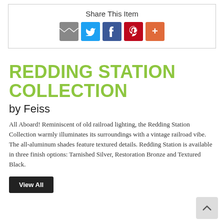Share This Item
[Figure (infographic): Social share icons: email (grey), Twitter (blue), Facebook (dark blue), Pinterest (red), More (orange)]
REDDING STATION COLLECTION
by Feiss
All Aboard! Reminiscent of old railroad lighting, the Redding Station Collection warmly illuminates its surroundings with a vintage railroad vibe. The all-aluminum shades feature textured details. Redding Station is available in three finish options: Tarnished Silver, Restoration Bronze and Textured Black.
View All